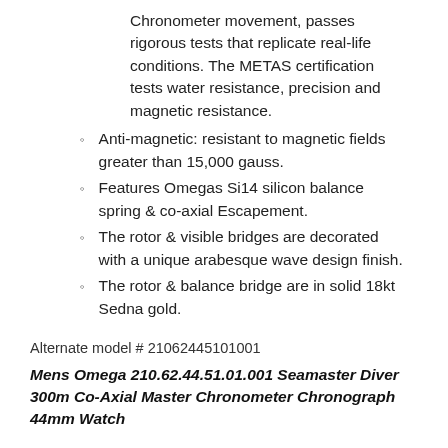Chronometer movement, passes rigorous tests that replicate real-life conditions. The METAS certification tests water resistance, precision and magnetic resistance.
Anti-magnetic: resistant to magnetic fields greater than 15,000 gauss.
Features Omegas Si14 silicon balance spring & co-axial Escapement.
The rotor & visible bridges are decorated with a unique arabesque wave design finish.
The rotor & balance bridge are in solid 18kt Sedna gold.
Alternate model # 21062445101001
Mens Omega 210.62.44.51.01.001 Seamaster Diver 300m Co-Axial Master Chronometer Chronograph 44mm Watch